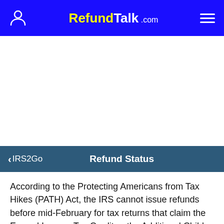RefundTalk.com
< IRS2Go   Refund Status
According to the Protecting Americans from Tax Hikes (PATH) Act, the IRS cannot issue refunds before mid-February for tax returns that claim the Earned Income Tax Credit or the Additional Child Tax Credit. This applies to the entire refund, even the portion not associated with these credits. Check Where's My Refund  in mid- to late February  for your personalized refund status. It's